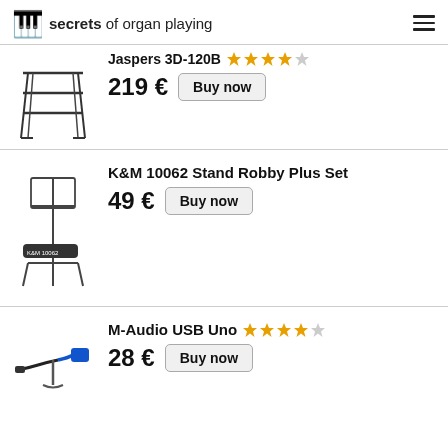secrets of organ playing
Jaspers 3D-120B ★★★★☆ 219 € Buy now
[Figure (photo): Photo of a Jaspers 3D-120B keyboard stand, a metal multi-tier stand.]
K&M 10062 Stand Robby Plus Set 49 € Buy now
[Figure (photo): Photo of a K&M 10062 Stand Robby Plus Set, a music stand with carry bag.]
M-Audio USB Uno ★★★★☆ 28 € Buy now
[Figure (photo): Photo of an M-Audio USB Uno MIDI interface cable.]